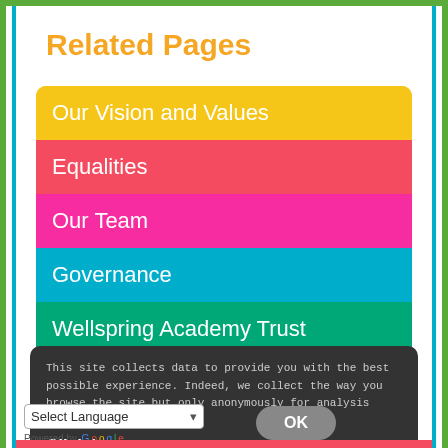Related Pages
Our Vision and Values
Equalities
Our Team
Governance
Wellspring Academy Trust
This site collects data to provide you with the best possible experience. Indeed, we collect the way you browse the site but only anonymously for analysis purposes. Click here for more information.
Select Language
Powered by Google Translate
OK